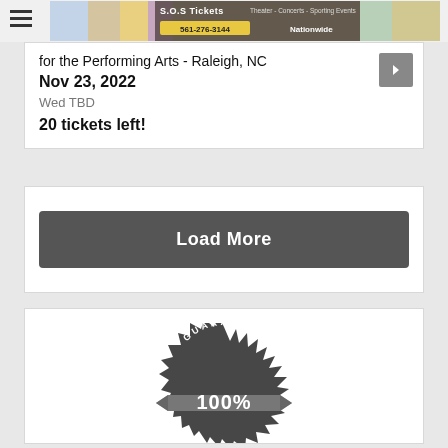[Figure (logo): S.O.S Tickets banner logo with text 'S.O.S Tickets Theater - Concerts - Sporting Events', phone number '561-276-3144', and 'Nationwide']
for the Performing Arts - Raleigh, NC
Nov 23, 2022
Wed TBD
20 tickets left!
Load More
[Figure (logo): 100% Guarantee badge/seal with starburst shape, ribbon banner showing '100%', and curved text reading 'GUARANTEE' on top and bottom]